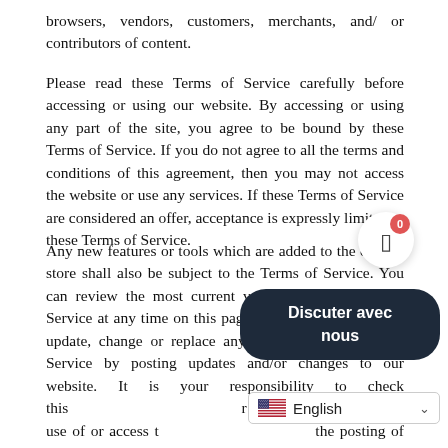browsers, vendors, customers, merchants, and/ or contributors of content.
Please read these Terms of Service carefully before accessing or using our website. By accessing or using any part of the site, you agree to be bound by these Terms of Service. If you do not agree to all the terms and conditions of this agreement, then you may not access the website or use any services. If these Terms of Service are considered an offer, acceptance is expressly limited to these Terms of Service.
Any new features or tools which are added to the current store shall also be subject to the Terms of Service. You can review the most current version of the Terms of Service at any time on this page. We reserve the right to update, change or replace any part of these Terms of Service by posting updates and/or changes to our website. It is your responsibility to check this page for changes. Your continued use of or access to the website following the posting of any changes constitutes acceptance of those changes.